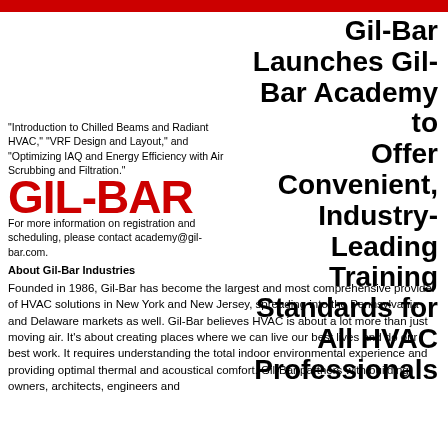Gil-Bar Launches Gil-Bar Academy to Offer Convenient, Industry-Leading Training Standards for All HVAC Professionals
"Introduction to Chilled Beams and Radiant HVAC," "VRF Design and Layout," and "Optimizing IAQ and Energy Efficiency with Air Scrubbing and Filtration."
[Figure (logo): GIL-BAR red bold logo text]
For more information on registration and scheduling, please contact academy@gil-bar.com.
About Gil-Bar Industries
Founded in 1986, Gil-Bar has become the largest and most comprehensive provider of HVAC solutions in New York and New Jersey, spreading into the Pennsylvania and Delaware markets as well. Gil-Bar believes HVAC is about a lot more than just moving air. It’s about creating places where we can live our best lives and do our best work. It requires understanding the total indoor environmental experience and providing optimal thermal and acoustical comfort. Gil-Bar partners with building owners, architects, engineers and